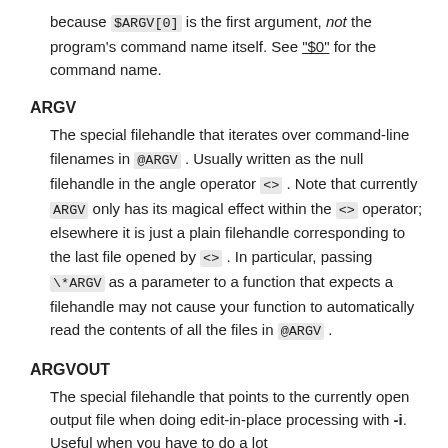because $ARGV[0] is the first argument, not the program's command name itself. See "$0" for the command name.
ARGV
The special filehandle that iterates over command-line filenames in @ARGV . Usually written as the null filehandle in the angle operator <> . Note that currently ARGV only has its magical effect within the <> operator; elsewhere it is just a plain filehandle corresponding to the last file opened by <> . In particular, passing \*ARGV as a parameter to a function that expects a filehandle may not cause your function to automatically read the contents of all the files in @ARGV .
ARGVOUT
The special filehandle that points to the currently open output file when doing edit-in-place processing with -i. Useful when you have to do a lot